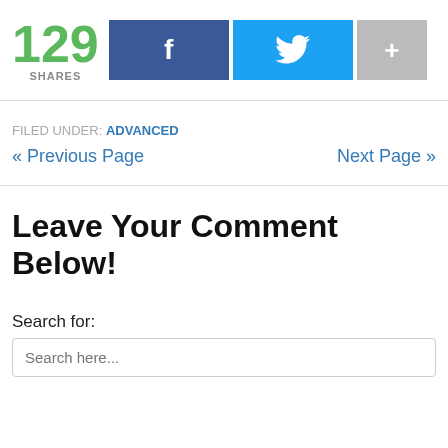[Figure (infographic): Social share count showing 129 SHARES with Facebook, Twitter, and more (+) buttons]
FILED UNDER: ADVANCED
« Previous Page
Next Page »
Leave Your Comment Below!
Search for:
Search here...